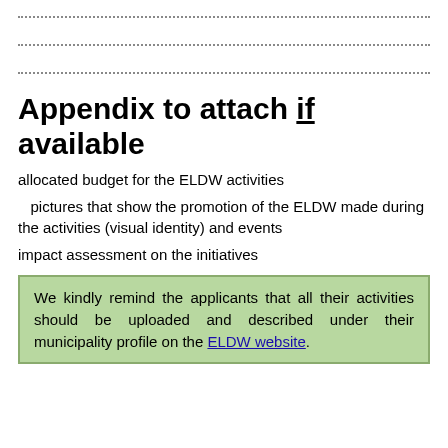.....................................................................................
.....................................................................................
.....................................................................................
Appendix to attach if available
allocated budget for the ELDW activities
pictures that show the promotion of the ELDW made during the activities (visual identity) and events
impact assessment on the initiatives
We kindly remind the applicants that all their activities should be uploaded and described under their municipality profile on the ELDW website.